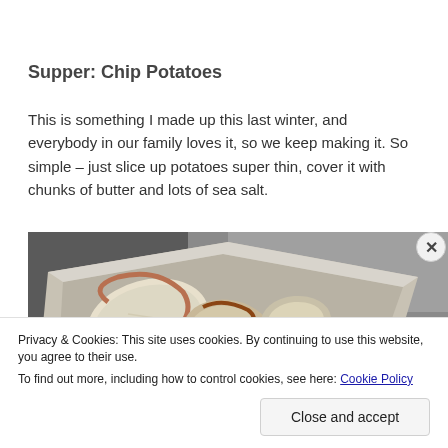Supper: Chip Potatoes
This is something I made up this last winter, and everybody in our family loves it, so we keep making it. So simple – just slice up potatoes super thin, cover it with chunks of butter and lots of sea salt.
[Figure (photo): A metal baking tray containing sliced potatoes, photographed from above at an angle on a dark metal surface.]
Privacy & Cookies: This site uses cookies. By continuing to use this website, you agree to their use.
To find out more, including how to control cookies, see here: Cookie Policy
Close and accept